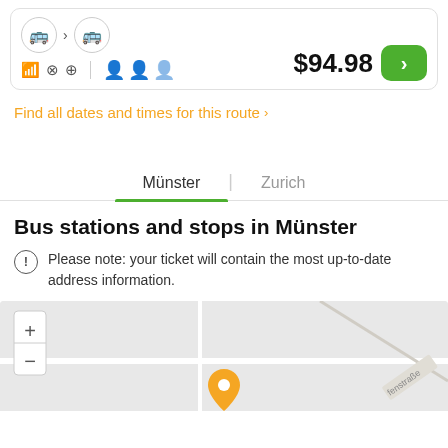$94.98
Find all dates and times for this route >
Münster | Zurich
Bus stations and stops in Münster
Please note: your ticket will contain the most up-to-date address information.
[Figure (map): Street map showing a location pin in Münster with zoom controls and a partial street label 'fenstraße']